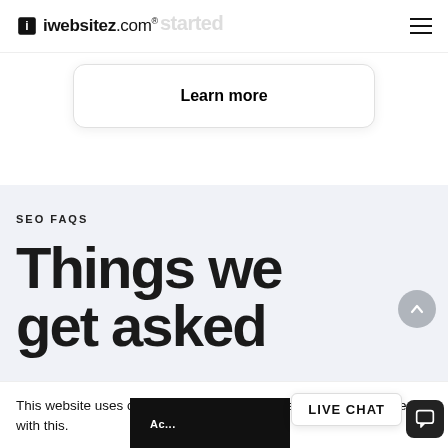iwebsitez.com® started
Learn more
SEO FAQS
Things we get asked
This website uses cookies for analytics purposes, we hope you're ok with this.
LIVE CHAT